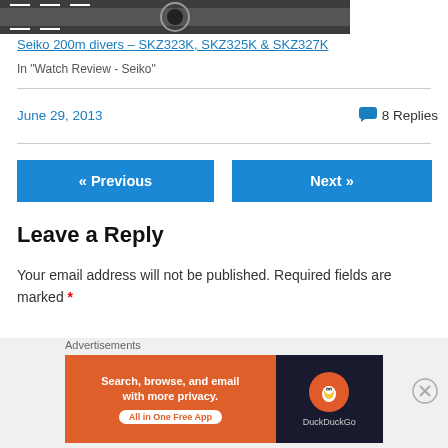[Figure (photo): Partial photo of a Seiko diver watch face/bezel, black and white tones]
Seiko 200m divers – SKZ323K, SKZ325K & SKZ327K
In "Watch Review - Seiko"
June 29, 2013
8 Replies
« Previous
Next »
Leave a Reply
Your email address will not be published. Required fields are marked *
[Figure (other): DuckDuckGo advertisement banner: 'Search, browse, and email with more privacy. All in One Free App' with DuckDuckGo logo]